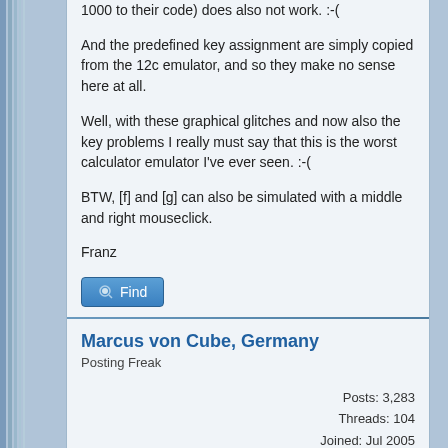1000 to their code) does also not work. :-(
And the predefined key assignment are simply copied from the 12c emulator, and so they make no sense here at all.
Well, with these graphical glitches and now also the key problems I really must say that this is the worst calculator emulator I've ever seen. :-(
BTW, [f] and [g] can also be simulated with a middle and right mouseclick.
Franz
Marcus von Cube, Germany
Posting Freak
Posts: 3,283
Threads: 104
Joined: Jul 2005